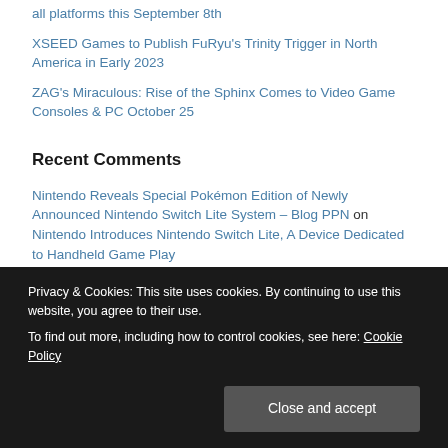all platforms this September 8th
XSEED Games to Publish FuRyu's Trinity Trigger in North America in Early 2023
ZAG's Miraculous: Rise of the Sphinx Comes to Video Game Consoles & PC October 25
Recent Comments
Nintendo Reveals Special Pokémon Edition of Newly Announced Nintendo Switch Lite System – Blog PPN on Nintendo Introduces Nintendo Switch Lite, A Device Dedicated to Handheld Game Play
Twitter on MEET THE TEAM BEHIND DIGIMON SURVIVE IN A NEW DEVELOPER PROFILE VIDEO
Privacy & Cookies: This site uses cookies. By continuing to use this website, you agree to their use.
To find out more, including how to control cookies, see here: Cookie Policy
Close and accept